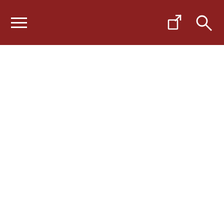verbatim dialogue Weems wasn't a “contemp writer,” in your words, and he wasn’t reporting his own experien